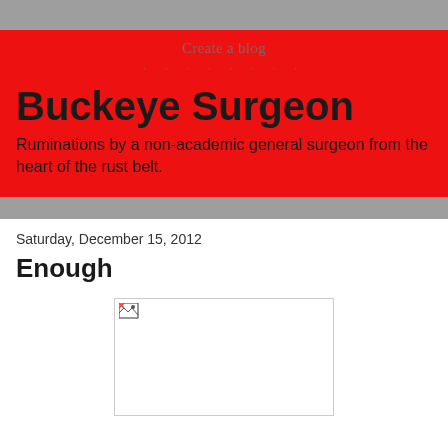Create a blog
Buckeye Surgeon
Ruminations by a non-academic general surgeon from the heart of the rust belt.
Saturday, December 15, 2012
Enough
[Figure (photo): Broken image placeholder — white rectangle with a small broken image icon in top-left corner]